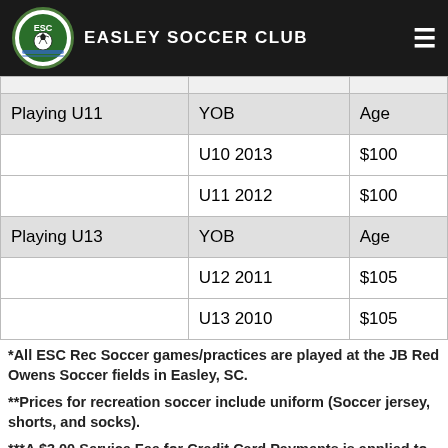EASLEY SOCCER CLUB
| Playing U11 | YOB | Age |
| --- | --- | --- |
|  | U10 2013 | $100 |
|  | U11 2012 | $100 |
| Playing U13 | YOB | Age |
|  | U12 2011 | $105 |
|  | U13 2010 | $105 |
*All ESC Rec Soccer games/practices are played at the JB Red Owens Soccer fields in Easley, SC.
**Prices for recreation soccer include uniform (Soccer jersey, shorts, and socks).
***A $3.00 Service Fee for Credit Card Payments is applied to credit card payments.